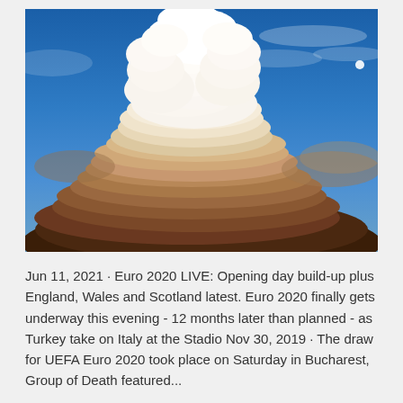[Figure (photo): Dramatic sky photograph showing a large cumulonimbus storm cloud with white billowing top against a deep blue sky, with darker reddish-brown base layers and a small white moon visible in the upper right area of the blue sky.]
Jun 11, 2021 · Euro 2020 LIVE: Opening day build-up plus England, Wales and Scotland latest. Euro 2020 finally gets underway this evening - 12 months later than planned - as Turkey take on Italy at the Stadio Nov 30, 2019 · The draw for UEFA Euro 2020 took place on Saturday in Bucharest, Group of Death featured...